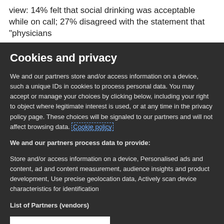view: 14% felt that social drinking was acceptable while on call; 27% disagreed with the statement that "physicians
Cookies and privacy
We and our partners store and/or access information on a device, such a unique IDs in cookies to process personal data. You may accept or manage your choices by clicking below, including your right to object where legitimate interest is used, or at any time in the privacy policy page. These choices will be signaled to our partners and will not affect browsing data. Cookie policy
We and our partners process data to provide:
Store and/or access information on a device, Personalised ads and content, ad and content measurement, audience insights and product development, Use precise geolocation data, Actively scan device characteristics for identification
List of Partners (vendors)
I Accept